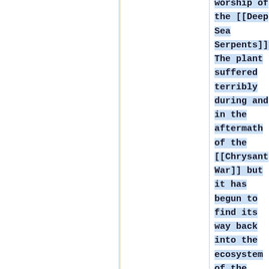worship of the [[Deep Sea Serpents]]. The plant suffered terribly during and in the aftermath of the [[Chrysant War]] but it has begun to find its way back into the ecosystem of the tropical region.